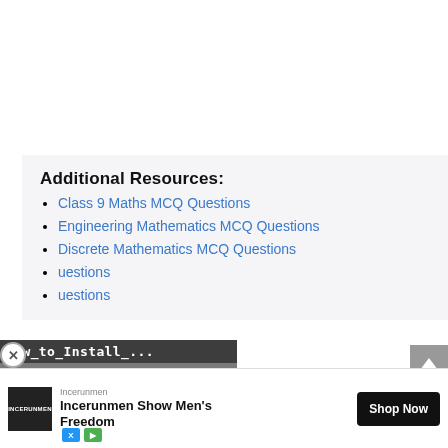Additional Resources:
Class 9 Maths MCQ Questions
Engineering Mathematics MCQ Questions
Discrete Mathematics MCQ Questions
[partially obscured] uestions
[partially obscured] uestions
[Figure (screenshot): Video overlay showing 'How_to_Install_...' tutorial with play button]
[Figure (other): Advertisement banner for Incerunmen showing 'Incerunmen Show Men's Freedom' with Shop Now button]